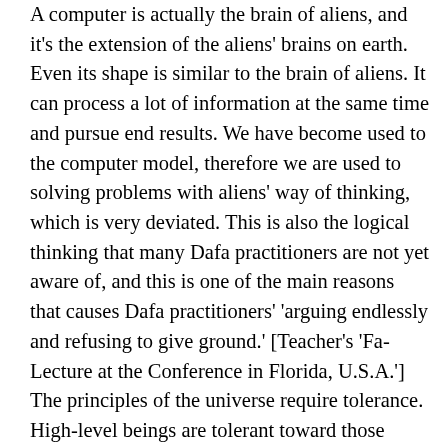A computer is actually the brain of aliens, and it's the extension of the aliens' brains on earth. Even its shape is similar to the brain of aliens. It can process a lot of information at the same time and pursue end results. We have become used to the computer model, therefore we are used to solving problems with aliens' way of thinking, which is very deviated. This is also the logical thinking that many Dafa practitioners are not yet aware of, and this is one of the main reasons that causes Dafa practitioners' 'arguing endlessly and refusing to give ground.' [Teacher's 'Fa-Lecture at the Conference in Florida, U.S.A.'] The principles of the universe require tolerance. High-level beings are tolerant toward those below them, and higher beings are tolerant toward these high level beings. There is no logic here, but only the issue of xinxing[mind nature] capacity. At present, the evil's persecution against Dafa practitioners function most easily through computers. The evil is able to condense into very small viruses and transfer itself into Dafa practitioners' computers and e-mail inboxes through